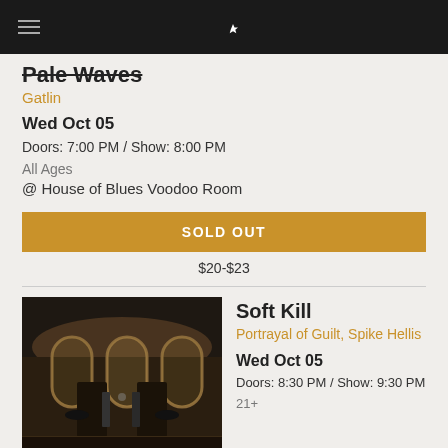Pale Waves / Gatlin — Concert listing app header
Pale Waves
Gatlin
Wed Oct 05
Doors: 7:00 PM / Show: 8:00 PM
All Ages
@ House of Blues Voodoo Room
SOLD OUT
$20–$23
[Figure (photo): Interior of House of Blues Voodoo Room venue, arched windows, musicians on stage]
Soft Kill
Portrayal of Guilt, Spike Hellis
Wed Oct 05
Doors: 8:30 PM / Show: 9:30 PM
21+